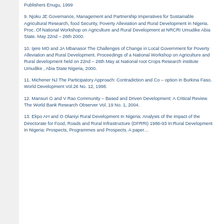Publishers Enugu, 1999
9. Njoku JE Governance, Management and Partnership Imperatives for Sustainable Agricultural Research, food Security, Poverty Alleviation and Rural Development in Nigeria. Proc. Of National Workshop on Agriculture and Rural Development at NRCRI Umudike Abia State. May 22nd – 26th 2000.
10. Ijere MO and JA Mbanasor The Challenges of Change in Local Government for Poverty Alleviation and Rural Development. Proceedings of a National Workshop on Agriculture and Rural development held on 22nd – 26th May at National root Crops Research institute Umudike , Abia State Nigeria, 2000.
11. Michener NJ The Participatory Approach: Contradiction and Co – option in Burkina Faso. World Development Vol.26 No. 12, 1998.
12. Mansuri G and V Rao Community – Based and Driven Development: A Critical Review. The World Bank Research Observer Vol. 19 No. 1, 2004.
13. Ekpo AH and O Olaniyi Rural Development In Nigeria: Analysis of the impact of the Directorate for Food, Roads and Rural Infrastructure (DFRRI) 1986-93 In:Rural Development In Nigeria: Prospects, Programmes and Prospects. A paper…